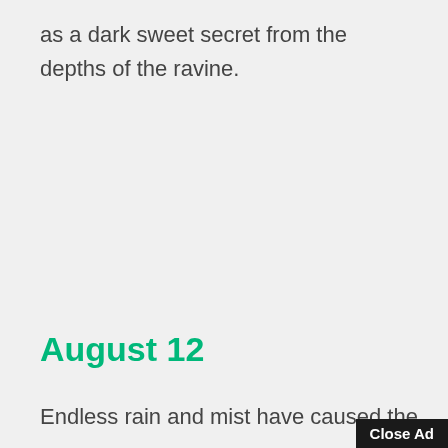as a dark sweet secret from the depths of the ravine.
August 12
Endless rain and mist have caused the